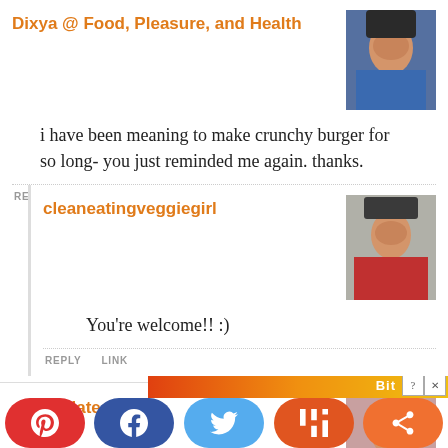Dixya @ Food, Pleasure, and Health
i have been meaning to make crunchy burger for so long- you just reminded me again. thanks.
REPLY   LINK
cleaneatingveggiegirl
You're welcome!! :)
REPLY   LINK
saltedplates
[Figure (infographic): Social sharing bar with Pinterest, Facebook, Twitter, Mix, and Share buttons, plus an advertisement strip above.]